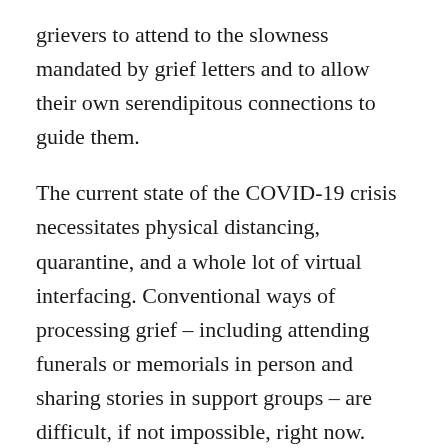grievers to attend to the slowness mandated by grief letters and to allow their own serendipitous connections to guide them.
The current state of the COVID-19 crisis necessitates physical distancing, quarantine, and a whole lot of virtual interfacing. Conventional ways of processing grief – including attending funerals or memorials in person and sharing stories in support groups – are difficult, if not impossible, right now. Letter-writing invites a creative, physically engaged mode of grief care that connects people in a way that a Zoom meeting cannot.